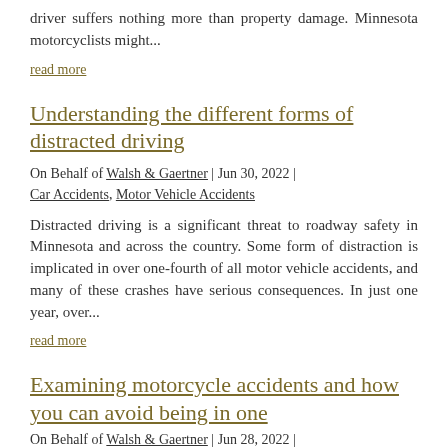driver suffers nothing more than property damage. Minnesota motorcyclists might...
read more
Understanding the different forms of distracted driving
On Behalf of Walsh & Gaertner | Jun 30, 2022 | Car Accidents, Motor Vehicle Accidents
Distracted driving is a significant threat to roadway safety in Minnesota and across the country. Some form of distraction is implicated in over one-fourth of all motor vehicle accidents, and many of these crashes have serious consequences. In just one year, over...
read more
Examining motorcycle accidents and how you can avoid being in one
On Behalf of Walsh & Gaertner | Jun 28, 2022 |